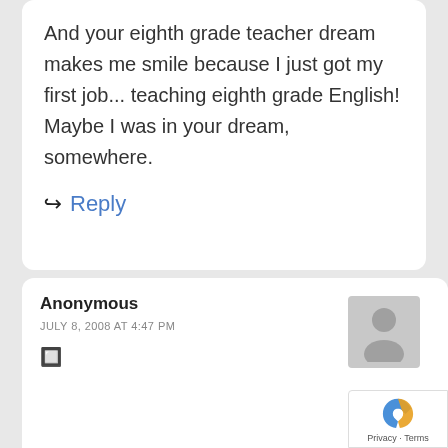And your eighth grade teacher dream makes me smile because I just got my first job... teaching eighth grade English! Maybe I was in your dream, somewhere.
↩ Reply
Anonymous
JULY 8, 2008 AT 4:47 PM
🔲
[Figure (other): Anonymous user avatar placeholder (grey silhouette icon)]
[Figure (other): Google reCAPTCHA badge with Privacy and Terms links]